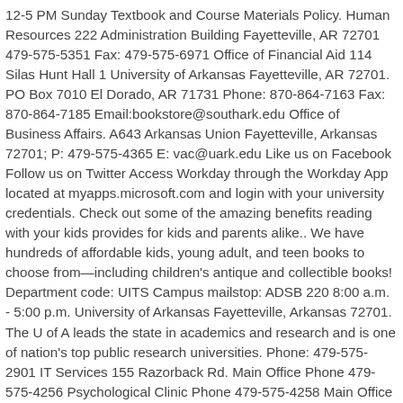12-5 PM Sunday Textbook and Course Materials Policy. Human Resources 222 Administration Building Fayetteville, AR 72701 479-575-5351 Fax: 479-575-6971 Office of Financial Aid 114 Silas Hunt Hall 1 University of Arkansas Fayetteville, AR 72701. PO Box 7010 El Dorado, AR 71731 Phone: 870-864-7163 Fax: 870-864-7185 Email:bookstore@southark.edu Office of Business Affairs. A643 Arkansas Union Fayetteville, Arkansas 72701; P: 479-575-4365 E: vac@uark.edu Like us on Facebook Follow us on Twitter Access Workday through the Workday App located at myapps.microsoft.com and login with your university credentials. Check out some of the amazing benefits reading with your kids provides for kids and parents alike.. We have hundreds of affordable kids, young adult, and teen books to choose from—including children's antique and collectible books! Department code: UITS Campus mailstop: ADSB 220 8:00 a.m. - 5:00 p.m. University of Arkansas Fayetteville, Arkansas 72701. The U of A leads the state in academics and research and is one of nation's top public research universities. Phone: 479-575-2901 IT Services 155 Razorback Rd. Main Office Phone 479-575-4256 Psychological Clinic Phone 479-575-4258 Main Office Fax 479-575-3219 IT services has three positions open in the infrastructure area; two part-time and one